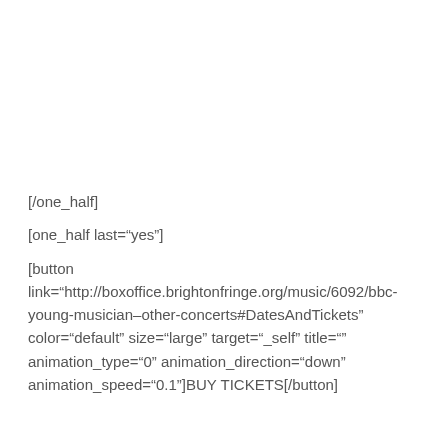[/one_half]
[one_half last="yes"]
[button link="http://boxoffice.brightonfringe.org/music/6092/bbc-young-musician–other-concerts#DatesAndTickets" color="default" size="large" target="_self" title="" animation_type="0" animation_direction="down" animation_speed="0.1"]BUY TICKETS[/button]